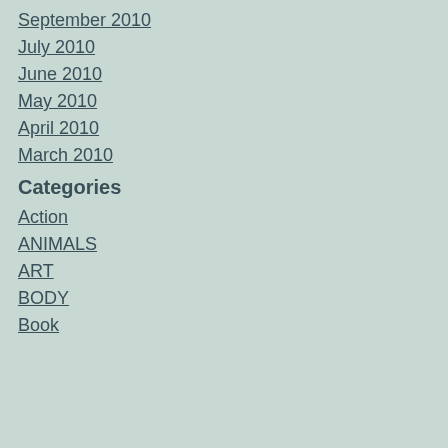September 2010
July 2010
June 2010
May 2010
April 2010
March 2010
Categories
Action
ANIMALS
ART
BODY
Book